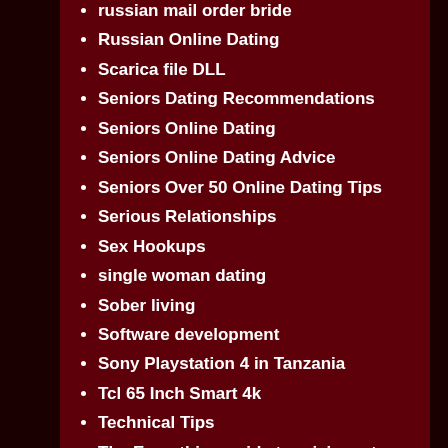russian mail order bride
Russian Online Dating
Scarica file DLL
Seniors Dating Recommendations
Seniors Online Dating
Seniors Online Dating Advice
Seniors Over 50 Online Dating Tips
Serious Relationships
Sex Hookups
single woman dating
Sober living
Software development
Sony Playstation 4 in Tanzania
Tcl 65 Inch Smart 4k
Technical Tips
The Everything guide to raising a two year old
Tips
Tips for Seniors Dating
Tips For Serious Relationships
tonaton.co.tz
Top Dating Sites For Lesbians